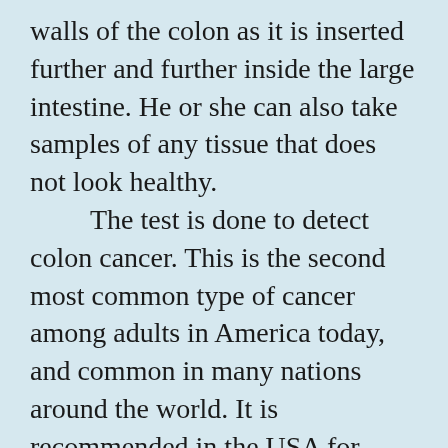walls of the colon as it is inserted further and further inside the large intestine. He or she can also take samples of any tissue that does not look healthy. The test is done to detect colon cancer. This is the second most common type of cancer among adults in America today, and common in many nations around the world. It is recommended in the USA for everyone over age 50, once every 10 years. However …